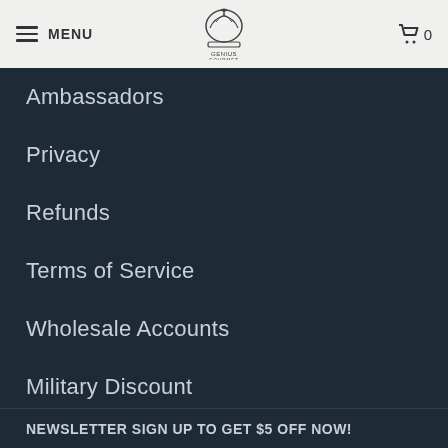MENU | Genius Gourmet logo | 0
Ambassadors
Privacy
Refunds
Terms of Service
Wholesale Accounts
Military Discount
Log In
NEWSLETTER SIGN UP TO GET $5 OFF NOW!